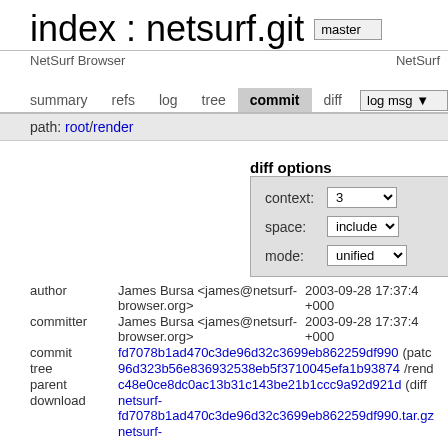index : netsurf.git
NetSurf Browser   NetSurf
summary   refs   log   tree   commit   diff   log msg
path: root/render
diff options
| field | value |
| --- | --- |
| context: | 3 |
| space: | include |
| mode: | unified |
| field | value |
| --- | --- |
| author | James Bursa <james@netsurf-browser.org>   2003-09-28 17:37:4   +000 |
| committer | James Bursa <james@netsurf-browser.org>   2003-09-28 17:37:4   +000 |
| commit | fd7078b1ad470c3de96d32c3699eb862259df990   (patch |
| tree | 96d323b56e836932538eb5f3710045efa1b93874   /rende |
| parent | c48e0ce8dc0ac13b31c143be21b1ccc9a92d921d   (diff |
| download | netsurf-fd7078b1ad470c3de96d32c3699eb862259df990.tar.gz   netsurf- |